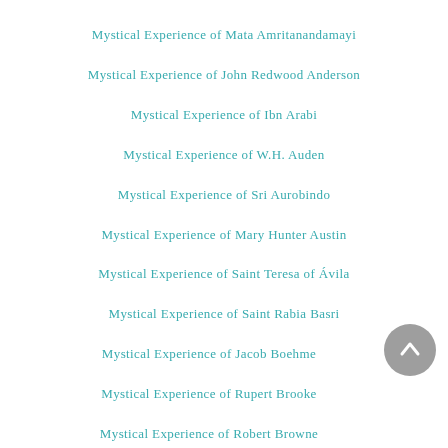Mystical Experience of Mata Amritanandamayi
Mystical Experience of John Redwood Anderson
Mystical Experience of Ibn Arabi
Mystical Experience of W.H. Auden
Mystical Experience of Sri Aurobindo
Mystical Experience of Mary Hunter Austin
Mystical Experience of Saint Teresa of Ávila
Mystical Experience of Saint Rabia Basri
Mystical Experience of Jacob Boehme
Mystical Experience of Rupert Brooke
Mystical Experience of [Robert Brown?]